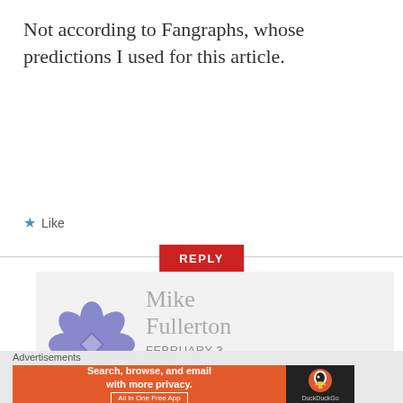Not according to Fangraphs, whose predictions I used for this article.
★ Like
REPLY
[Figure (illustration): Blue/purple geometric flower/compass-rose avatar icon for commenter Mike Fullerton]
Mike Fullerton FEBRUARY 3, 2019 AT 3:00 PM
Advertisements
[Figure (other): DuckDuckGo advertisement banner: Search, browse, and email with more privacy. All in One Free App. DuckDuckGo logo on dark background.]